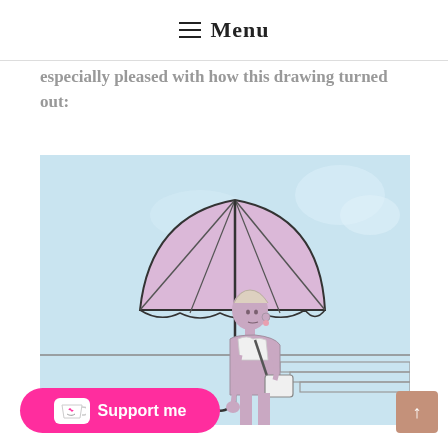Menu
especially pleased with how this drawing turned out:
[Figure (illustration): Illustration of a young woman holding a large pink/lavender umbrella, wearing casual clothes with a bag, walking. Light blue watercolor sky background.]